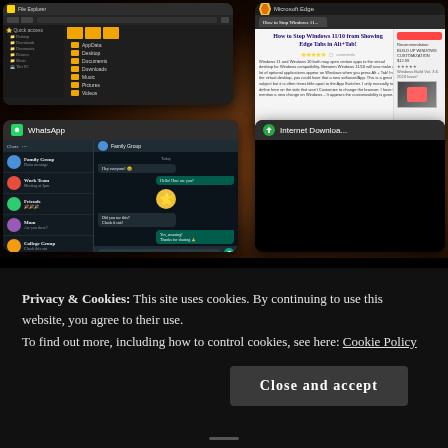[Figure (screenshot): Windows 11 desktop screenshot showing Alt+Tab task switcher with multiple open windows including File Explorer, a web browser with an article, WhatsApp desktop app, and Internet Download Manager. The desktop background shows a dark space/planet theme.]
Privacy & Cookies: This site uses cookies. By continuing to use this website, you agree to their use.
To find out more, including how to control cookies, see here: Cookie Policy
Close and accept